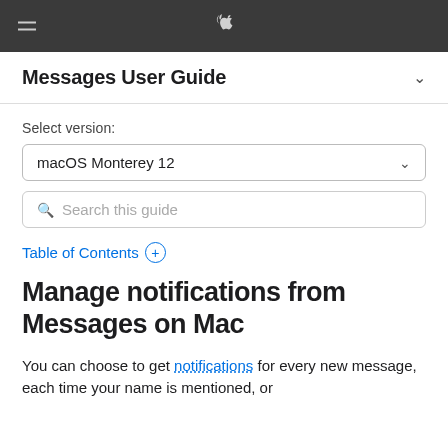Messages User Guide
Select version:
macOS Monterey 12
Search this guide
Table of Contents +
Manage notifications from Messages on Mac
You can choose to get notifications for every new message, each time your name is mentioned, or